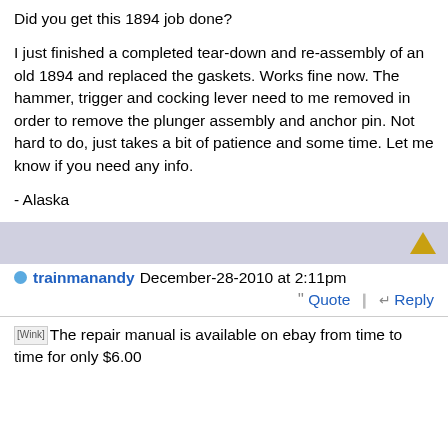Did you get this 1894 job done?

I just finished a completed tear-down and re-assembly of an old 1894 and replaced the gaskets.  Works fine now.  The hammer, trigger and cocking lever need to me removed in order to remove the plunger assembly and anchor pin.  Not hard to do, just takes a bit of patience and some time.  Let me know if you need any info.

- Alaska
trainmanandy December-28-2010 at 2:11pm
Quote  Reply
[Wink]The repair manual is available on ebay from time to time for only $6.00